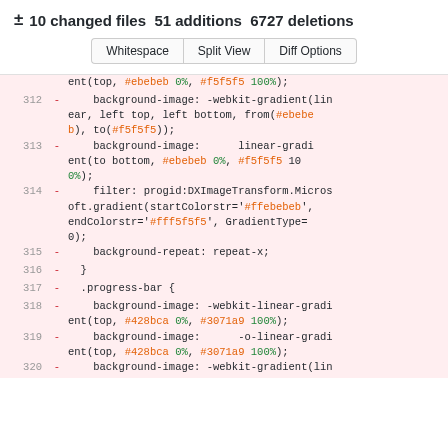± 10 changed files  51 additions  6727 deletions
Whitespace  Split View  Diff Options
ent(top, #ebebeb 0%, #f5f5f5 100%);
312  -    background-image: -webkit-gradient(linear, left top, left bottom, from(#ebebeb), to(#f5f5f5));
313  -    background-image:      linear-gradient(to bottom, #ebebeb 0%, #f5f5f5 100%);
314  -    filter: progid:DXImageTransform.Microsoft.gradient(startColorstr='#ffebebeb', endColorstr='#fff5f5f5', GradientType=0);
315  -    background-repeat: repeat-x;
316  - }
317  - .progress-bar {
318  -    background-image: -webkit-linear-gradient(top, #428bca 0%, #3071a9 100%);
319  -    background-image:      -o-linear-gradient(top, #428bca 0%, #3071a9 100%);
320  -    background-image: -webkit-gradient(lin